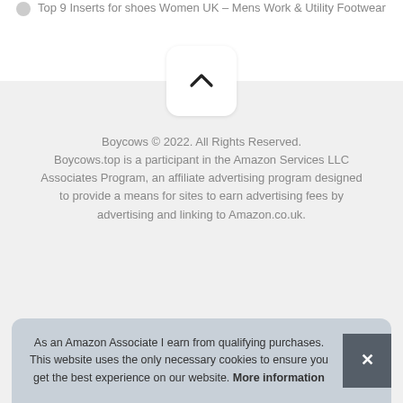Top 9 Inserts for shoes Women UK – Mens Work & Utility Footwear
Boycows © 2022. All Rights Reserved. Boycows.top is a participant in the Amazon Services LLC Associates Program, an affiliate advertising program designed to provide a means for sites to earn advertising fees by advertising and linking to Amazon.co.uk.
As an Amazon Associate I earn from qualifying purchases. This website uses the only necessary cookies to ensure you get the best experience on our website. More information